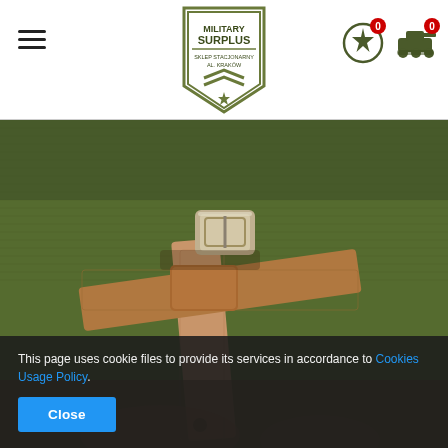Military Surplus — navigation header with hamburger menu, logo, and cart icons
[Figure (photo): Close-up photo of a tan/brown leather strap with a metal buckle crossing over another strap, laid on a dark olive-green military fabric background]
This page uses cookie files to provide its services in accordance to Cookies Usage Policy.
Close